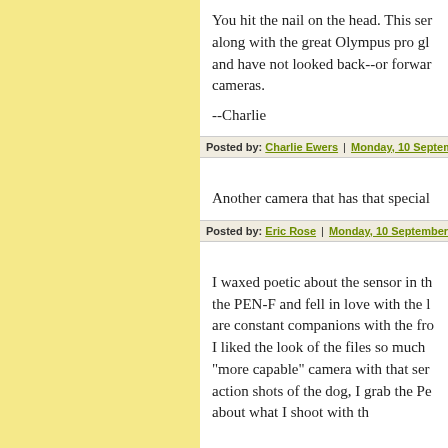You hit the nail on the head. This ser along with the great Olympus pro gl and have not looked back--or forwar cameras.
--Charlie
Posted by: Charlie Ewers | Monday, 10 September 201
Another camera that has that special
Posted by: Eric Rose | Monday, 10 September 2018 at
I waxed poetic about the sensor in th the PEN-F and fell in love with the l are constant companions with the fro I liked the look of the files so much "more capable" camera with that ser action shots of the dog, I grab the Pe about what I shoot with th